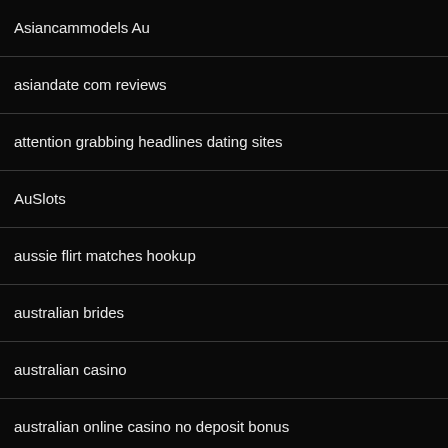Asiancammodels Au
asiandate com reviews
attention grabbing headlines dating sites
AuSlots
aussie flirt matches hookup
australian brides
australian casino
australian online casino no deposit bonus
australian online pokies
australian writing
austrian brides
Auto Title Loans
Avant Chicago